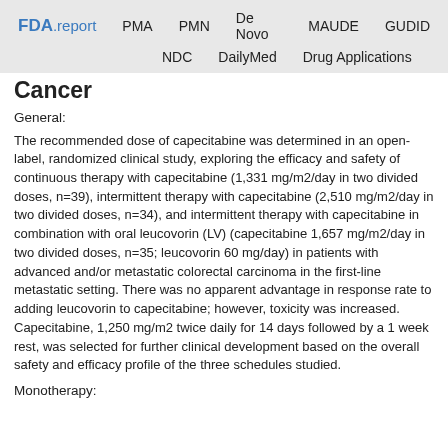FDA.report  PMA  PMN  De Novo  MAUDE  GUDID  NDC  DailyMed  Drug Applications
Cancer
General:
The recommended dose of capecitabine was determined in an open-label, randomized clinical study, exploring the efficacy and safety of continuous therapy with capecitabine (1,331 mg/m2/day in two divided doses, n=39), intermittent therapy with capecitabine (2,510 mg/m2/day in two divided doses, n=34), and intermittent therapy with capecitabine in combination with oral leucovorin (LV) (capecitabine 1,657 mg/m2/day in two divided doses, n=35; leucovorin 60 mg/day) in patients with advanced and/or metastatic colorectal carcinoma in the first-line metastatic setting. There was no apparent advantage in response rate to adding leucovorin to capecitabine; however, toxicity was increased. Capecitabine, 1,250 mg/m2 twice daily for 14 days followed by a 1 week rest, was selected for further clinical development based on the overall safety and efficacy profile of the three schedules studied.
Monotherapy: